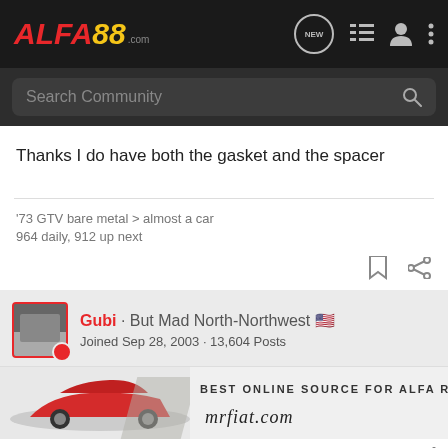ALFA88.com — community forum header with navigation icons (NEW, list, user, menu)
Search Community
Thanks I do have both the gasket and the spacer
'73 GTV bare metal > almost a car
964 daily, 912 up next
Gubi · But Mad North-Northwest 🇺🇸
Joined Sep 28, 2003 · 13,604 Posts
[Figure (screenshot): mrfiat.com advertisement banner — Best Online Source for Alfa Romeo Parts, with an image of a red Alfa Romeo Spider]
#6 · Jun